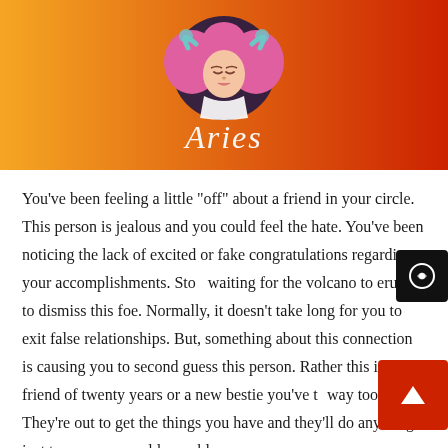[Figure (illustration): Aries zodiac banner with gradient orange-to-red background, illustration of a woman with pink hair and ram horns, and cursive 'Aries' text below]
You've been feeling a little "off" about a friend in your circle. This person is jealous and you could feel the hate. You've been noticing the lack of excited or fake congratulations regarding your accomplishments. Stop waiting for the volcano to erupt to dismiss this foe. Normally, it doesn't take long for you to exit false relationships. But, something about this connection is causing you to second guess this person. Rather this is a friend of twenty years or a new bestie you've tr way too soon. They're out to get the things you have and they'll do anything just to see your world crumble